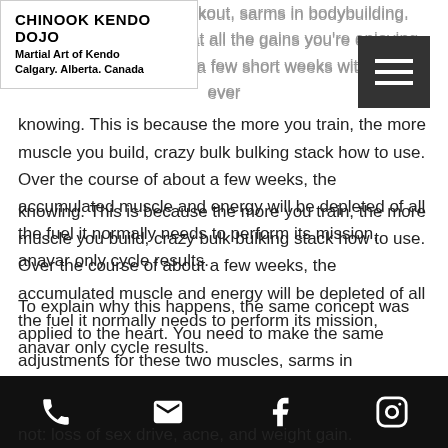CHINOOK KENDO DOJO
Martial Art of Kendo
Calgary. Alberta. Canada
through your last workout, sarms in bodybuilding. You'll probably find that all the gains you're enjoying have disappeared over a few short weeks without your ever knowing. This is because the more you train, the more muscle you build, crazy bulk bulking stack how to use. Over the course of about a few weeks, the accumulated muscle and energy will be depleted of all the fuel it normally needs to perform its mission, anavar only cycle results.
To explain why this happens, the same concept was applied to the heart. You need to make the same adjustments for these two muscles, sarms in bodybuilding.
Tren bileti istanbul ankara
Many of the side effects of Tren are similar to not: loss of sex drive, acne, and weight gain.
Phone | Email | Facebook | Instagram